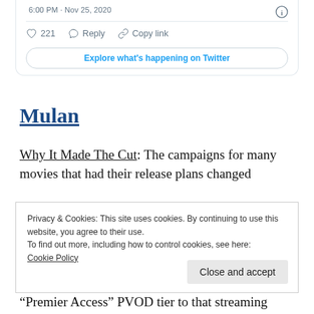[Figure (screenshot): Twitter card bottom portion showing timestamp '6:00 PM · Nov 25, 2020', like count 221, Reply button, Copy link button, and 'Explore what's happening on Twitter' button]
Mulan
Why It Made The Cut: The campaigns for many movies that had their release plans changed
Privacy & Cookies: This site uses cookies. By continuing to use this website, you agree to their use.
To find out more, including how to control cookies, see here:
Cookie Policy
Close and accept
“Premier Access” PVOD tier to that streaming